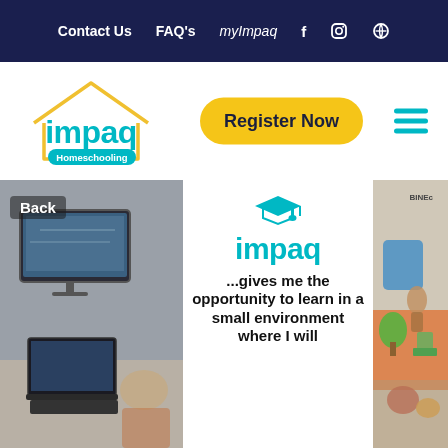Contact Us  FAQ's  myImpaq  f  [instagram]  [search]
[Figure (logo): Impaq Homeschooling logo with house outline and teal text]
Register Now
[Figure (screenshot): Left panel showing a person at a computer with multiple screens, Back label visible]
[Figure (illustration): Center panel with Impaq logo and graduation cap icon, text: ...gives me the opportunity to learn in a small environment where I will]
[Figure (photo): Right panel showing colorful educational materials]